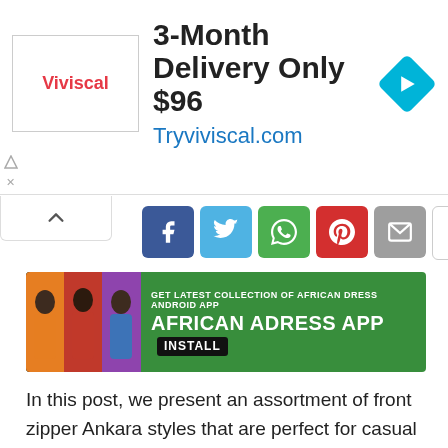[Figure (screenshot): Advertisement banner: Viviscal logo, '3-Month Delivery Only $96', 'Tryviviscal.com' with navigation arrow icon]
[Figure (screenshot): Social share buttons: Facebook, Twitter, WhatsApp, Pinterest, Email, Comment]
[Figure (screenshot): African Dress Android App promotional banner with green background and INSTALL button]
In this post, we present an assortment of front zipper Ankara styles that are perfect for casual wear, formal events, and everyday use. These blouses are ideal for women who want to look classy and stylish in their fashion world.
The dazzling front zipper Ankara is a very stylish type of blouse or top. It is a very easy way to dress up your outfits and make them look more sophisticated. It can be